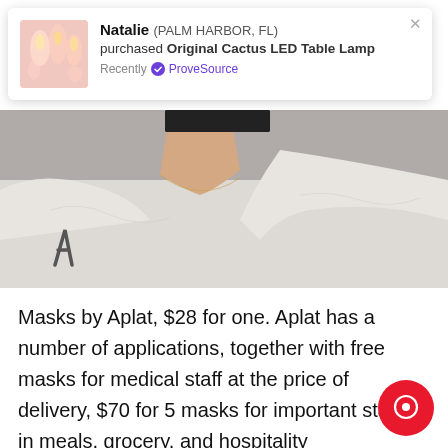[Figure (screenshot): ProveSource notification popup showing Natalie from Palm Harbor, FL purchased Original Cactus LED Table Lamp, Recently verified by ProveSource, with a product thumbnail image of pink/warm-lit candles or lamps]
[Figure (photo): Close-up photo of a person wearing a white top with a necklace visible, neutral/grey background]
Masks by Aplat, $28 for one. Aplat has a number of applications, together with free masks for medical staff at the price of delivery, $70 for 5 masks for important staff in meals, grocery, and hospitality companies, or a buy-one-give-one program through which a masks might be donated to a frontline medical employee the acquisition of 1 masks.